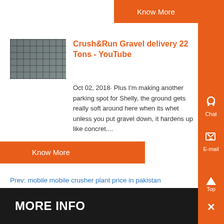Know More
Crush&Run Gravel delivery 22 Tons - YouTube
Oct 02, 2018· Plus I'm making another parking spot for Shelly, the ground gets really soft around here when its whet unless you put gravel down, it hardens up like concret....
Know More
Prev: mobile mobile crusher plant price in pakistan
Next: copper ore crushing project in kenya jobs 2018 india
MORE INFO